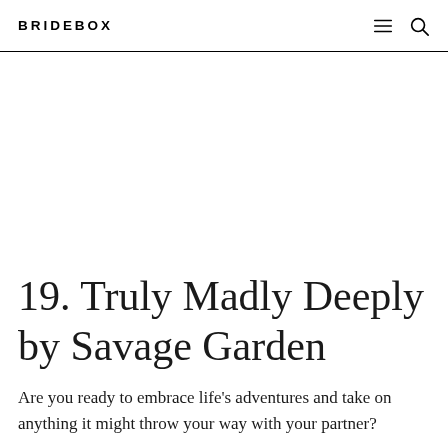BRIDEBOX
19. Truly Madly Deeply by Savage Garden
Are you ready to embrace life's adventures and take on anything it might throw your way with your partner?